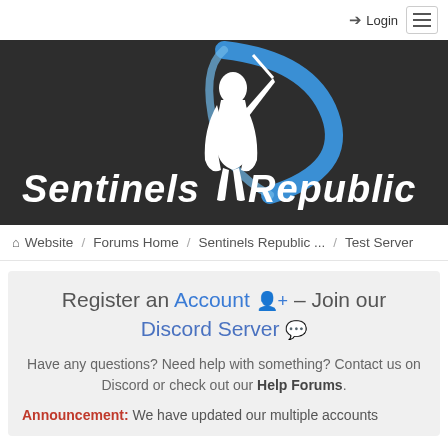Login  ≡
[Figure (logo): Sentinels Republic logo — white silhouette of a warrior/dog figure with a sword, blue swoosh arc, white italic text 'Sentinels Republic' on dark background]
Website / Forums Home / Sentinels Republic ... / Test Server
Register an Account 👤+ – Join our Discord Server 🎮
Have any questions? Need help with something? Contact us on Discord or check out our Help Forums.
Announcement: We have updated our multiple accounts